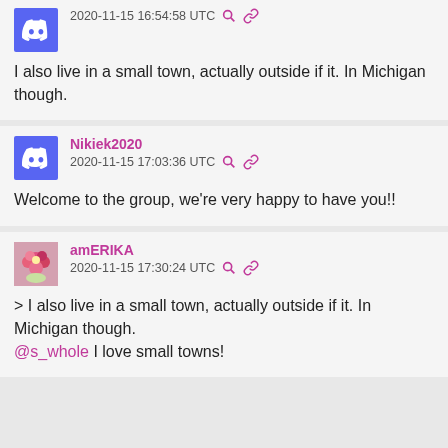2020-11-15 16:54:58 UTC
I also live in a small town, actually outside if it. In Michigan though.
Nikiek2020
2020-11-15 17:03:36 UTC
Welcome to the group, we're very happy to have you!!
amERIKA
2020-11-15 17:30:24 UTC
> I also live in a small town, actually outside if it. In Michigan though.
@s_whole I love small towns!